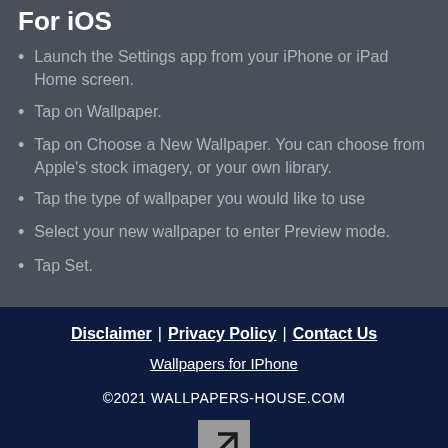For iOS
Launch the Settings app from your iPhone or iPad Home screen.
Tap on Wallpaper.
Tap on Choose a New Wallpaper. You can choose from Apple's stock imagery, or your own library.
Tap the type of wallpaper you would like to use
Select your new wallpaper to enter Preview mode.
Tap Set.
Disclaimer | Privacy Policy | Contact Us
Wallpapers for IPhone
©2021 WALLPAPERS-HOUSE.COM
[Figure (other): Arrow icon pointing upper-right in a grey square box]